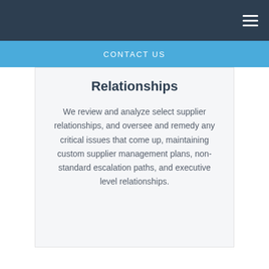CONTACT US
Relationships
We review and analyze select supplier relationships, and oversee and remedy any critical issues that come up, maintaining custom supplier management plans, non-standard escalation paths, and executive level relationships.